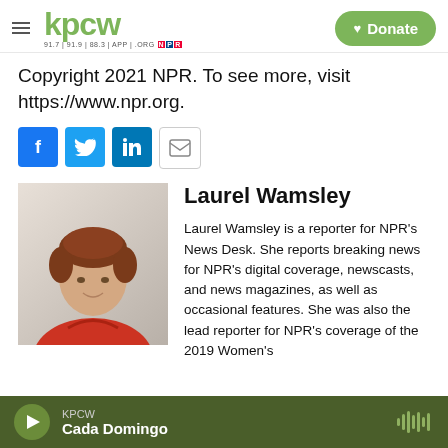KPCW — Donate
Copyright 2021 NPR. To see more, visit https://www.npr.org.
[Figure (infographic): Social share buttons: Facebook, Twitter, LinkedIn, Email]
[Figure (photo): Headshot photo of Laurel Wamsley, a woman with short auburn hair wearing a red/orange top]
Laurel Wamsley
Laurel Wamsley is a reporter for NPR's News Desk. She reports breaking news for NPR's digital coverage, newscasts, and news magazines, as well as occasional features. She was also the lead reporter for NPR's coverage of the 2019 Women's
KPCW — Cada Domingo